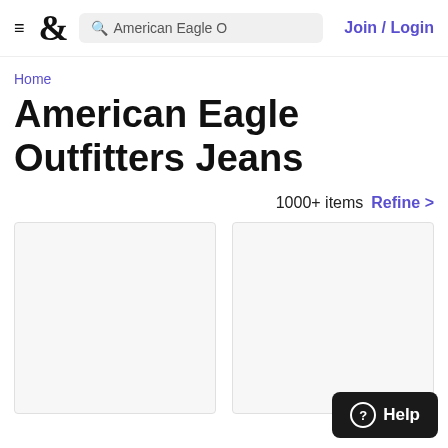≡  &  American Eagle O  Join / Login
Home
American Eagle Outfitters Jeans
1000+ items  Refine >
[Figure (other): Two product image placeholder cards side by side (light gray, no product image loaded)]
Help